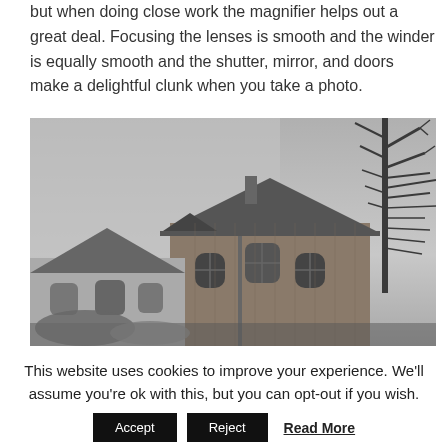but when doing close work the magnifier helps out a great deal. Focusing the lenses is smooth and the winder is equally smooth and the shutter, mirror, and doors make a delightful clunk when you take a photo.
[Figure (photo): Black and white photograph of residential houses with a bare tree visible on the right side, taken from a low angle looking up.]
This website uses cookies to improve your experience. We'll assume you're ok with this, but you can opt-out if you wish.
Accept | Reject | Read More